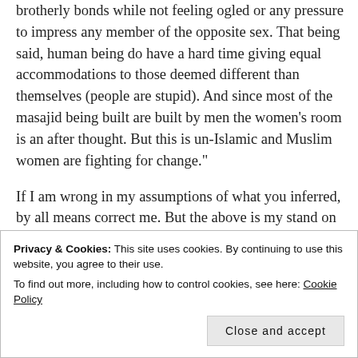brotherly bonds while not feeling ogled or any pressure to impress any member of the opposite sex. That being said, human being do have a hard time giving equal accommodations to those deemed different than themselves (people are stupid). And since most of the masajid being built are built by men the women’s room is an after thought. But this is un-Islamic and Muslim women are fighting for change.”
If I am wrong in my assumptions of what you inferred, by all means correct me. But the above is my stand on men and women’s place of
Privacy & Cookies: This site uses cookies. By continuing to use this website, you agree to their use.
To find out more, including how to control cookies, see here: Cookie Policy